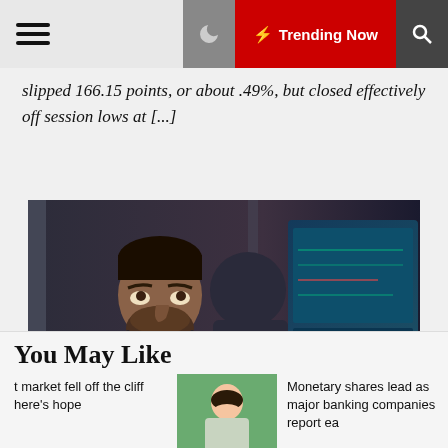Trending Now
slipped 166.15 points, or about .49%, but closed effectively off session lows at [...]
[Figure (photo): Stock trader on NYSE floor looking upward with concerned expression, another trader in GTS jacket visible in background with trading screens]
You May Like
t market fell off the cliff here’s hope
[Figure (photo): Woman smiling outdoors]
Monetary shares lead as major banking companies report ea